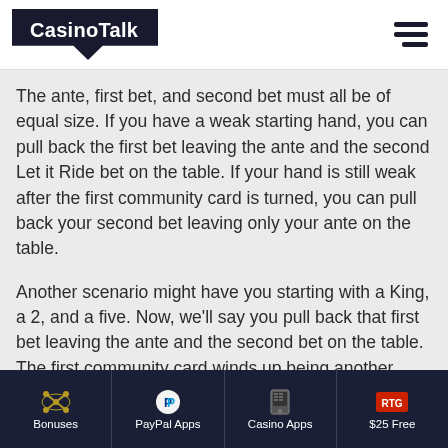CasinoTalk
The ante, first bet, and second bet must all be of equal size. If you have a weak starting hand, you can pull back the first bet leaving the ante and the second Let it Ride bet on the table. If your hand is still weak after the first community card is turned, you can pull back your second bet leaving only your ante on the table.
Another scenario might have you starting with a King, a 2, and a five. Now, we'll say you pull back that first bet leaving the ante and the second bet on the table. The first community card winds up being another King. Now you've got a payable hand with a pair of Kings. You will let that second bet ride. Assuming that the second community card didn't help you improve your hand, you finish with
Bonuses | PayPal Apps | Casino Apps | $25 Free